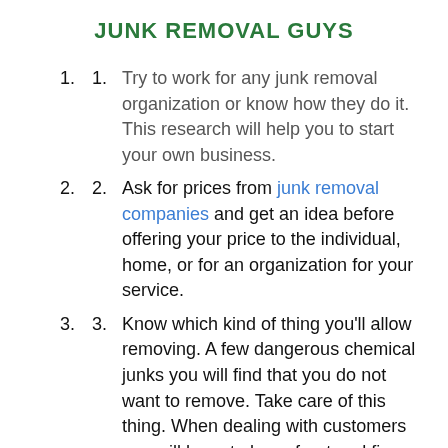JUNK REMOVAL GUYS
Try to work for any junk removal organization or know how they do it. This research will help you to start your own business.
Ask for prices from junk removal companies and get an idea before offering your price to the individual, home, or for an organization for your service.
Know which kind of thing you'll allow removing. A few dangerous chemical junks you will find that you do not want to remove. Take care of this thing. When dealing with customers you will have to be upfront and firm in what